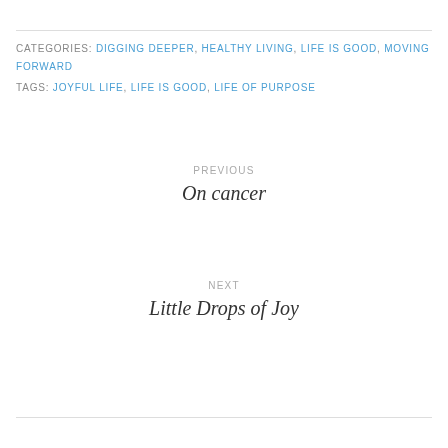CATEGORIES: DIGGING DEEPER, HEALTHY LIVING, LIFE IS GOOD, MOVING FORWARD
TAGS: JOYFUL LIFE, LIFE IS GOOD, LIFE OF PURPOSE
PREVIOUS
On cancer
NEXT
Little Drops of Joy